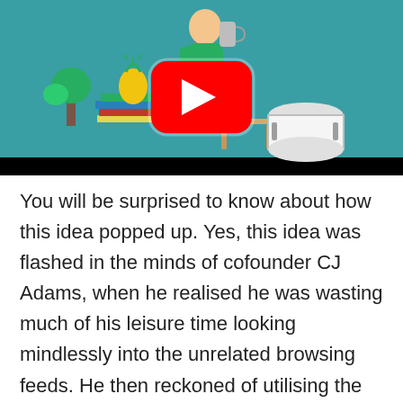[Figure (screenshot): YouTube video thumbnail showing a person in green standing among musical instruments and objects (drum, vinyl record, pineapple, books, plant) on a teal background, with a YouTube play button overlay and a black bar at the bottom.]
You will be surprised to know about how this idea popped up. Yes, this idea was flashed in the minds of cofounder CJ Adams, when he realised he was wasting much of his leisure time looking mindlessly into the unrelated browsing feeds. He then reckoned of utilising the time by knowing more about topics that appeal to him.